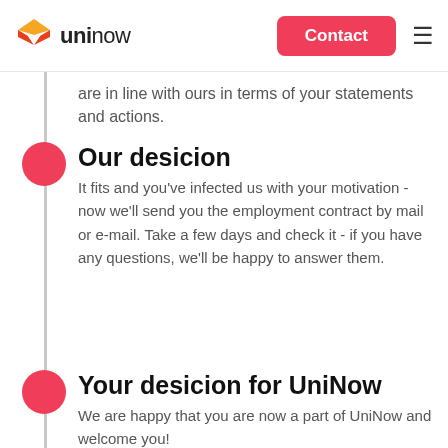UniNow — Contact
are in line with ours in terms of your statements and actions.
Our desicion
It fits and you've infected us with your motivation - now we'll send you the employment contract by mail or e-mail. Take a few days and check it - if you have any questions, we'll be happy to answer them.
Your desicion for UniNow
We are happy that you are now a part of UniNow and welcome you!